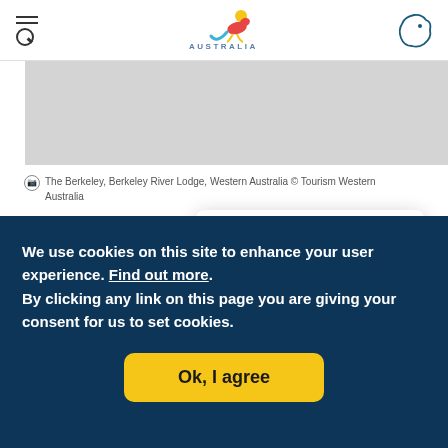Australia tourism website header with menu/search icon, Australia logo, and kangaroo map icon
[Figure (photo): Gray placeholder image area for Berkeley River Lodge, Western Australia photo]
The Berkeley, Berkeley River Lodge, Western Australia © Tourism Western Australia
Where: Kimberley Coast,
[Figure (screenshot): Chat Mate popup overlay with title 'Chat Mate', close button, and partial text 'G'day mate! 🦘 Looking to learn']
We use cookies on this site to enhance your user experience. Find out more.
By clicking any link on this page you are giving your consent for us to set cookies.
Ok, I agree